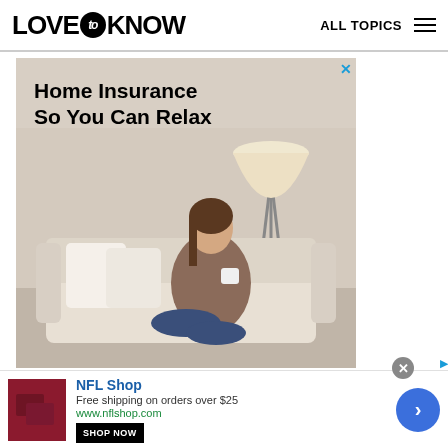LOVE to KNOW   ALL TOPICS
[Figure (photo): Advertisement for home insurance showing a woman relaxing on a sofa holding a cup with a lamp in the background. Text reads: Home Insurance So You Can Relax. Branded as LOVE to KNOW x PAKT]
[Figure (photo): NFL Shop advertisement showing dark red/maroon folded items. Text: NFL Shop, Free shipping on orders over $25, www.nflshop.com, SHOP NOW button]